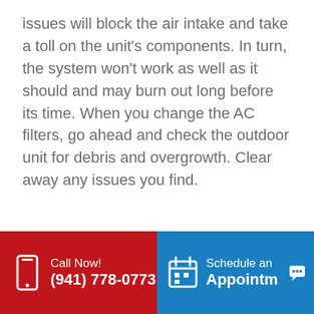issues will block the air intake and take a toll on the unit's components. In turn, the system won't work as well as it should and may burn out long before its time. When you change the AC filters, go ahead and check the outdoor unit for debris and overgrowth. Clear away any issues you find.
3) Have the Ductwork Cleaned
AC filters help trap dirt and
Call Now! (941) 778-0773   Schedule an Appointment